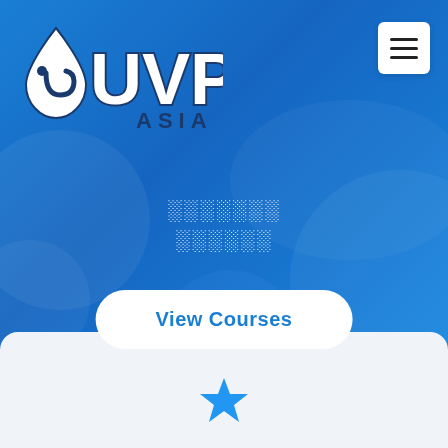[Figure (logo): UVP Asia logo — a water drop with fish hook icon in white, with bold UVP lettering and ASIA subtitle, rendered on blue background]
[Figure (other): Hamburger menu button — white square with three horizontal lines, positioned top right]
░░░░░░░ ░░░░░░
[Figure (other): View Courses button — white pill-shaped button with blue text]
[Figure (other): White card panel at bottom with blue star icon]